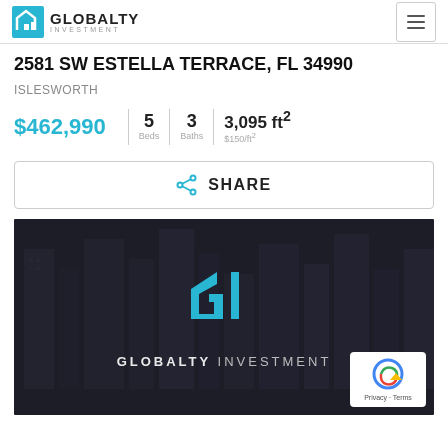GLOBALTY INVESTMENT
2581 SW ESTELLA TERRACE, FL 34990
ISLESWORTH
$462,990 | 5 Beds | 3 Baths | 3,095 ft² $150/ft²
< SHARE
[Figure (logo): Globalty Investment logo overlay on dark city background photo]